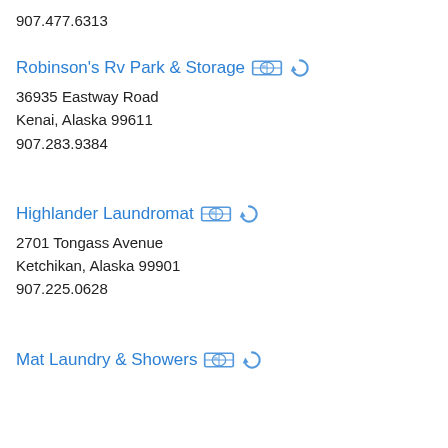907.477.6313
Robinson's Rv Park & Storage
36935 Eastway Road
Kenai, Alaska 99611
907.283.9384
Highlander Laundromat
2701 Tongass Avenue
Ketchikan, Alaska 99901
907.225.0628
Mat Laundry & Showers